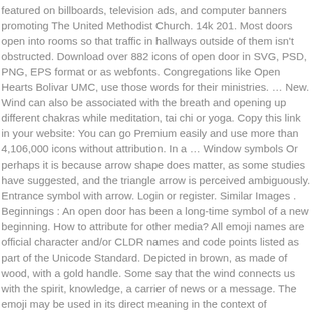featured on billboards, television ads, and computer banners promoting The United Methodist Church. 14k 201. Most doors open into rooms so that traffic in hallways outside of them isn't obstructed. Download over 882 icons of open door in SVG, PSD, PNG, EPS format or as webfonts. Congregations like Open Hearts Bolivar UMC, use those words for their ministries. … New. Wind can also be associated with the breath and opening up different chakras while meditation, tai chi or yoga. Copy this link in your website: You can go Premium easily and use more than 4,106,000 icons without attribution. In a … Window symbols Or perhaps it is because arrow shape does matter, as some studies have suggested, and the triangle arrow is perceived ambiguously. Entrance symbol with arrow. Login or register. Similar Images . Beginnings : An open door has been a long-time symbol of a new beginning. How to attribute for other media? All emoji names are official character and/or CLDR names and code points listed as part of the Unicode Standard. Depicted in brown, as made of wood, with a gold handle. Some say that the wind connects us with the spirit, knowledge, a carrier of news or a message. The emoji may be used in its direct meaning in the context of remodeling, for instance. Paste this link on the website where your app is available for download or in the description section of the platform or marketplace you're